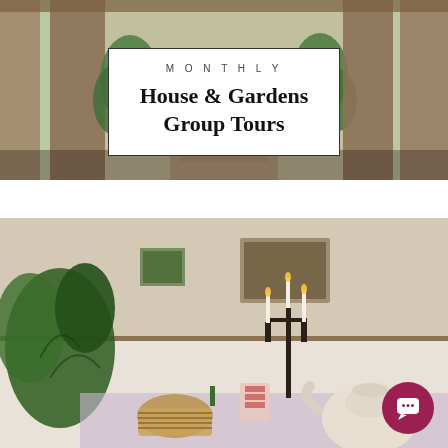[Figure (photo): Aerial view through wooden slats/fence showing a garden path with brickwork and lush green plants on either side]
MONTHLY
House & Gardens Group Tours
[Figure (photo): Interior room with cozy decor: a table set with a teapot, candles on a candelabra, wicker basket, chevron-patterned cups, a monstera plant, and walls adorned with various hanging decorations and shelves]